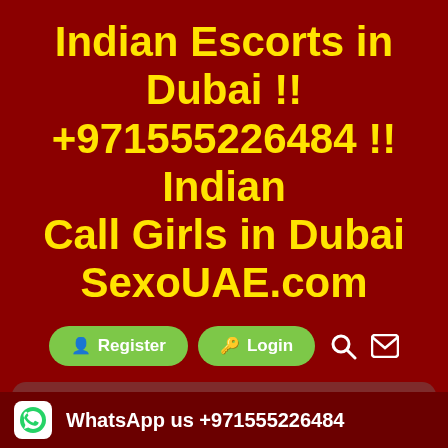Indian Escorts in Dubai !! +971555226484 !! Indian Call Girls in Dubai SexoUAE.com
[Figure (infographic): Navigation buttons: Register and Login buttons in green, plus search and mail icons]
Homepage > Escort > Abu dhabi Independent escort girls !! hi profile escort girls Abu dhabi
[Figure (infographic): Call Now! badge with phone icon and number +971555226484]
WhatsApp us +971555226484